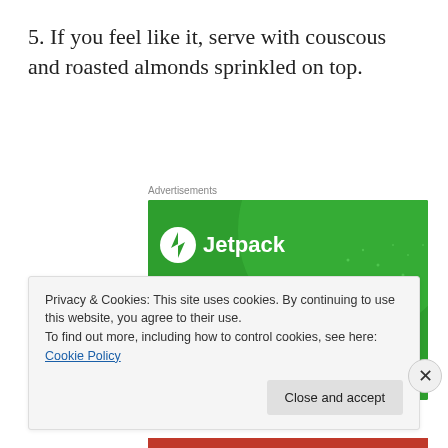5. If you feel like it, serve with couscous and roasted almonds sprinkled on top.
[Figure (other): Jetpack advertisement banner with green background showing Jetpack logo and text 'The best real-time WordPress backup plugin']
Privacy & Cookies: This site uses cookies. By continuing to use this website, you agree to their use. To find out more, including how to control cookies, see here: Cookie Policy